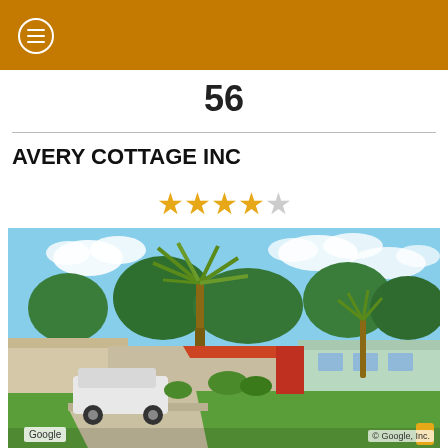56
AVERY COTTAGE INC
★★★★☆ (4 out of 5 stars)
[Figure (photo): Google Street View image of Avery Cottage Inc, showing a low single-story building with palm trees and green lawn in front, a white SUV parked in the driveway, with 'Google' and '© Google, Inc.' watermarks visible.]